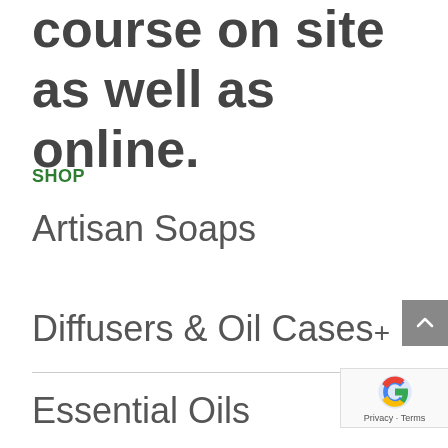course on site as well as online.
SHOP
Artisan Soaps
Diffusers & Oil Cases
Essential Oils